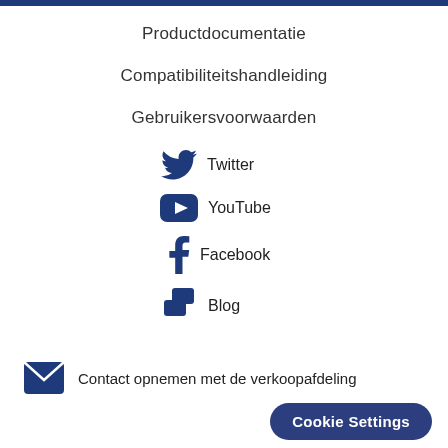Productdocumentatie
Compatibiliteitshandleiding
Gebruikersvoorwaarden
Twitter
YouTube
Facebook
Blog
Contact opnemen met de verkoopafdeling
Cookie Settings